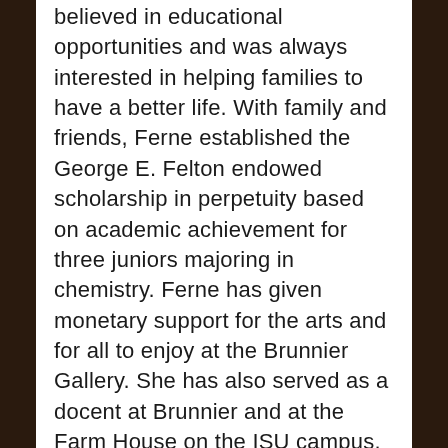believed in educational opportunities and was always interested in helping families to have a better life. With family and friends, Ferne established the George E. Felton endowed scholarship in perpetuity based on academic achievement for three juniors majoring in chemistry. Ferne has given monetary support for the arts and for all to enjoy at the Brunnier Gallery. She has also served as a docent at Brunnier and at the Farm House on the ISU campus.
7/1/96
Paver Inscription:
"Iowa State Alumnae